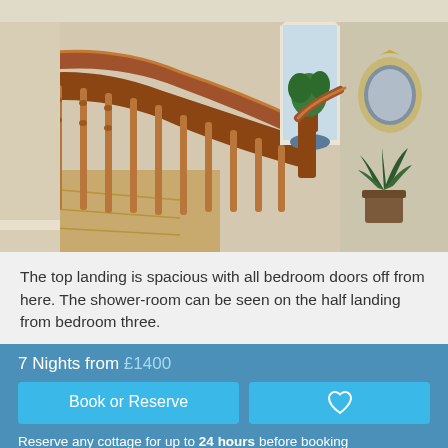[Figure (photo): Interior photo of a staircase landing with wooden banister railings, wooden floor, arched doorway with plant visible through it, and an ornate mirror on the wall. A potted plant is visible on the right side.]
The top landing is spacious with all bedroom doors off from here. The shower-room can be seen on the half landing from bedroom three.
7 Nights from £1400
Book or Reserve
Reserve any cottage for up to 24 hours before booking